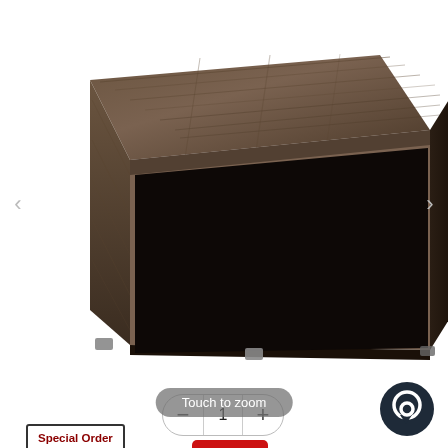[Figure (photo): Dark brown wood-grain coffee table with waterfall edges and small chrome feet, shown on white background]
Touch to zoom
[Figure (infographic): Special Order badge: red text 'Special Order' with '12-16 week required' in black, bordered box]
[Figure (infographic): Coupon Available badge: scissors icon above red rounded rectangle with white text 'Coupon Available']
PRODUCT DESCRIPTION
[Figure (other): Dark circular chat/messenger button in bottom right corner]
1